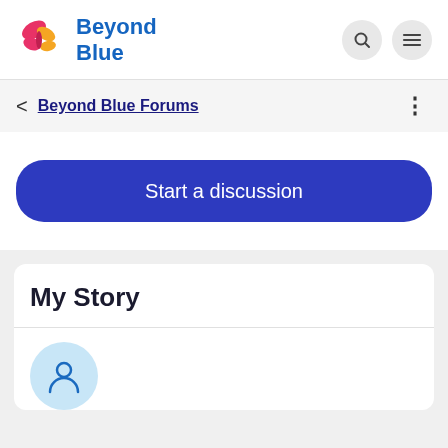[Figure (logo): Beyond Blue logo with butterfly icon (pink and yellow) and blue text reading 'Beyond Blue']
Beyond Blue Forums
Start a discussion
My Story
[Figure (illustration): User profile avatar icon in blue on a light blue circular background]